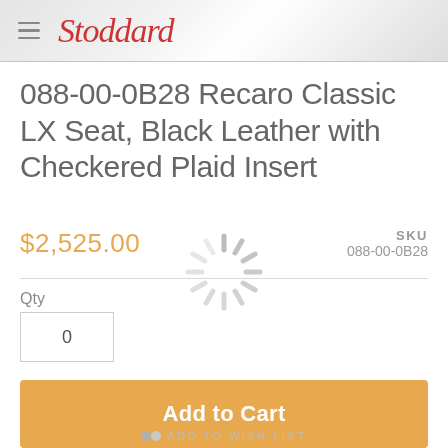Stoddard
088-00-0B28 Recaro Classic LX Seat, Black Leather with Checkered Plaid Insert
$2,525.00
SKU 088-00-0B28
Qty 0
Add to Cart
ADD TO WISH LIST